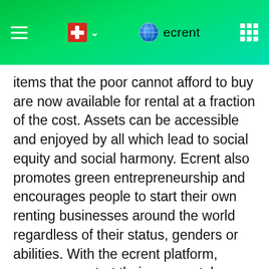ecrent
items that the poor cannot afford to buy are now available for rental at a fraction of the cost. Assets can be accessible and enjoyed by all which lead to social equity and social harmony. Ecrent also promotes green entrepreneurship and encourages people to start their own renting businesses around the world regardless of their status, genders or abilities. With the ecrent platform, anyone can start their own rental businesses working from home. This contributes to employment and sustainable economic growth. ECrent supports the United Nations' Public Private Partnership (PPP) Initiative and